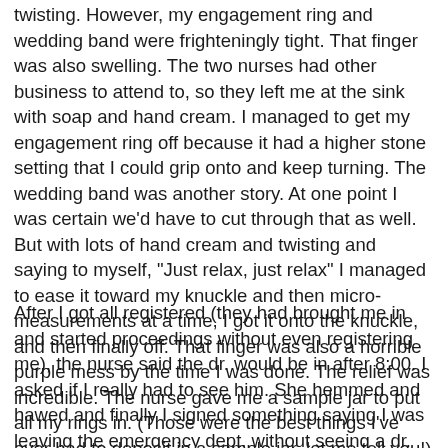twisting. However, my engagement ring and wedding band were frighteningly tight. That finger was also swelling. The two nurses had other business to attend to, so they left me at the sink with soap and hand cream. I managed to get my engagement ring off because it had a higher stone setting that I could grip onto and keep turning. The wedding band was another story. At one point I was certain we'd have to cut through that as well. But with lots of hand cream and twisting and saying to myself, "Just relax, just relax" I managed to ease it toward my knuckle and then micro-measurements at a time, I got it onto the knuckle, and then finally off. That finger was also a horrible purple mess by the time I was done. The relief was incredible. The nurse gave me a sample jar to put all my rings in. (Those were the best things I've ever had to deposit in a sample jar, let me tell you!)
After I got all registered (they had brought me in and started proceedings without even registering me), the nurse said the dr. would be in after 8:00. I asked if I really had to see him. She hemmed and hawed and finally I signed something saying I was leaving the emergency dept. without seeing a dr. against advice (or something like that). I reassured her